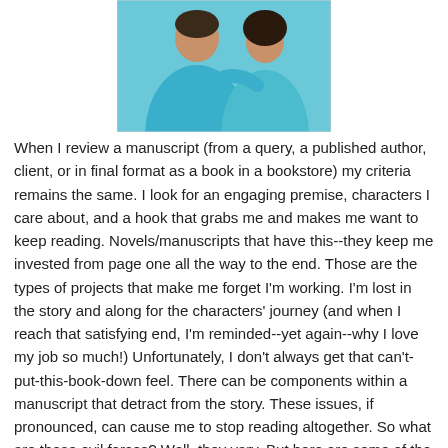[Figure (photo): Photo of two people embracing, both wearing teal/turquoise shirts, cropped at upper portion]
When I review a manuscript (from a query, a published author, client, or in final format as a book in a bookstore) my criteria remains the same. I look for an engaging premise, characters I care about, and a hook that grabs me and makes me want to keep reading. Novels/manuscripts that have this--they keep me invested from page one all the way to the end. Those are the types of projects that make me forget I'm working. I'm lost in the story and along for the characters' journey (and when I reach that satisfying end, I'm reminded--yet again--why I love my job so much!) Unfortunately, I don't always get that can't-put-this-book-down feel. There can be components within a manuscript that detract from the story. These issues, if pronounced, can cause me to stop reading altogether. So what are these evil forces? Well, they vary. But here are some of the issues to watch for: --Believability. (As in, characters say or do things that sound false. Or their actions don't match who they have been presented to be. This believability factor also applies to